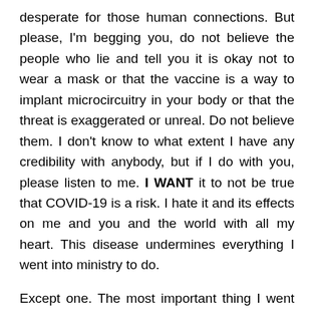desperate for those human connections. But please, I'm begging you, do not believe the people who lie and tell you it is okay not to wear a mask or that the vaccine is a way to implant microcircuitry in your body or that the threat is exaggerated or unreal. Do not believe them. I don't know to what extent I have any credibility with anybody, but if I do with you, please listen to me. I WANT it to not be true that COVID-19 is a risk. I hate it and its effects on me and you and the world with all my heart. This disease undermines everything I went into ministry to do.
Except one. The most important thing I went into to ministry to do was to tell the truth. The truth about God, the truth about Jesus, the truth about the Gospel and the truth about the world.
And I'm telling you that there are Believers in our Believer D...